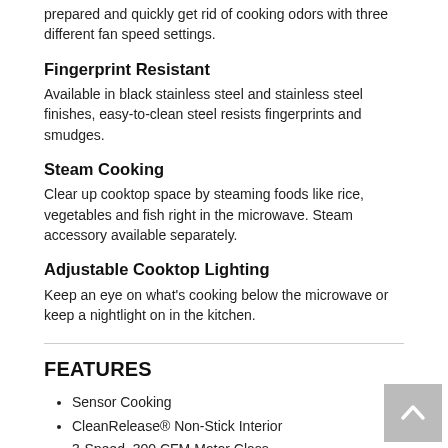prepared and quickly get rid of cooking odors with three different fan speed settings.
Fingerprint Resistant
Available in black stainless steel and stainless steel finishes, easy-to-clean steel resists fingerprints and smudges.
Steam Cooking
Clear up cooktop space by steaming foods like rice, vegetables and fish right in the microwave. Steam accessory available separately.
Adjustable Cooktop Lighting
Keep an eye on what's cooking below the microwave or keep a nightlight on in the kitchen.
FEATURES
Sensor Cooking
CleanRelease® Non-Stick Interior
3-Speed, 300 CFM Motor Class